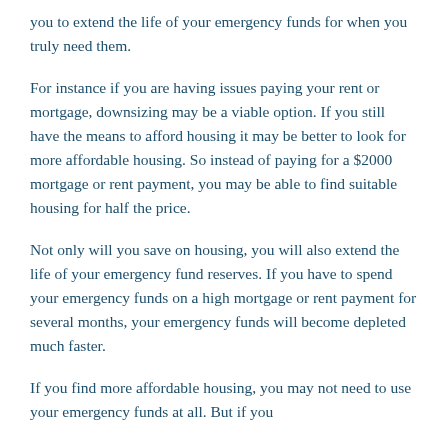you to extend the life of your emergency funds for when you truly need them.
For instance if you are having issues paying your rent or mortgage, downsizing may be a viable option. If you still have the means to afford housing it may be better to look for more affordable housing. So instead of paying for a $2000 mortgage or rent payment, you may be able to find suitable housing for half the price.
Not only will you save on housing, you will also extend the life of your emergency fund reserves. If you have to spend your emergency funds on a high mortgage or rent payment for several months, your emergency funds will become depleted much faster.
If you find more affordable housing, you may not need to use your emergency funds at all. But if you